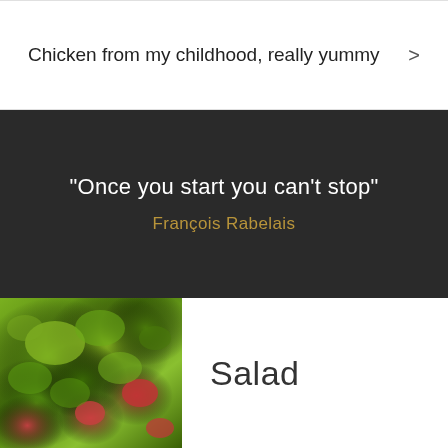Chicken from my childhood, really yummy
"Once you start you can't stop"
François Rabelais
[Figure (photo): Close-up photo of a fresh green salad with lettuce and red tomatoes]
Salad